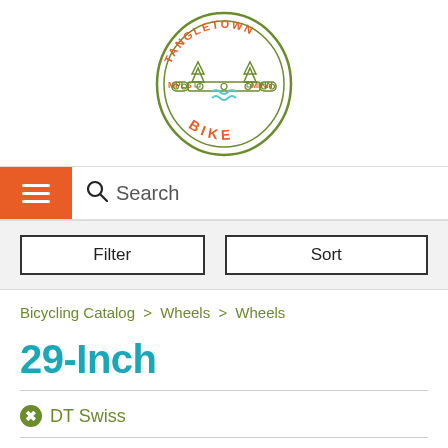[Figure (logo): Tangletown Bike shop logo — circular green outlined badge with orange text 'TANGLETOWN' at top, 'BIKE' at bottom in orange, bicycle chain and pine trees illustration in center, 'MPLS' on left, 'MINN' on right in orange]
Search
Filter
Sort
Bicycling Catalog > Wheels > Wheels
29-Inch
DT Swiss